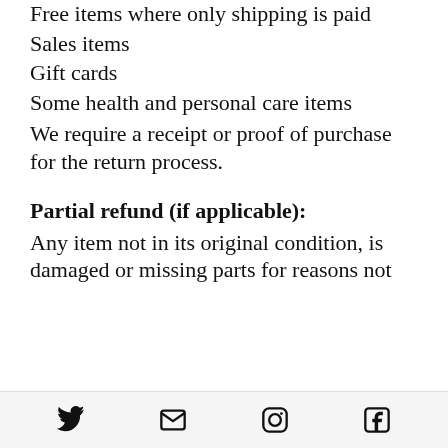Free items where only shipping is paid
Sales items
Gift cards
Some health and personal care items
We require a receipt or proof of purchase for the return process.
Partial refund (if applicable):
Any item not in its original condition, is damaged or missing parts for reasons not
Twitter, Email, Instagram, Facebook icons